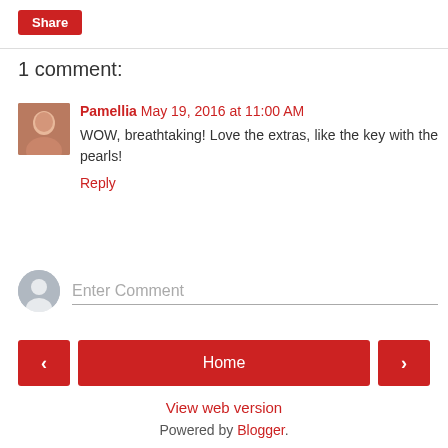Share
1 comment:
Pamellia  May 19, 2016 at 11:00 AM
WOW, breathtaking! Love the extras, like the key with the pearls!
Reply
Enter Comment
< Home >
View web version
Powered by Blogger.